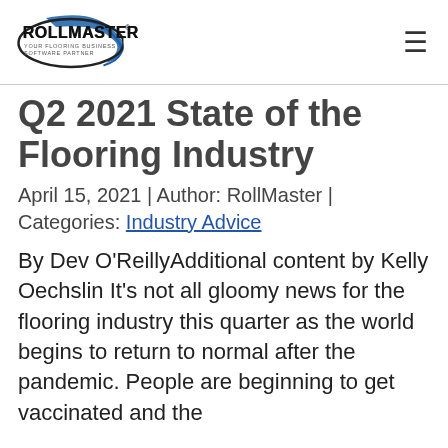RollMaster — Your Flooring Business Software Partner
Q2 2021 State of the Flooring Industry
April 15, 2021 | Author: RollMaster | Categories: Industry Advice
By Dev O'ReillyAdditional content by Kelly Oechslin It's not all gloomy news for the flooring industry this quarter as the world begins to return to normal after the pandemic. People are beginning to get vaccinated and the